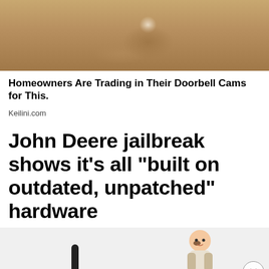[Figure (photo): Close-up photo of sand or sandy surface, brownish/tan tones, appears to be an advertisement thumbnail image]
Homeowners Are Trading in Their Doorbell Cams for This.
Keilini.com
John Deere jailbreak shows it's all "built on outdated, unpatched" hardware
[Figure (photo): Advertisement thumbnail showing a child with yellow toy and a vacuum-like device. Has a close (X) button on the right side.]
Report an ad
[Figure (infographic): Disney Bundle advertisement banner with Hulu, Disney+, and ESPN+ logos, GET THE DISNEY BUNDLE call-to-action button, fine print text about Hulu plans]